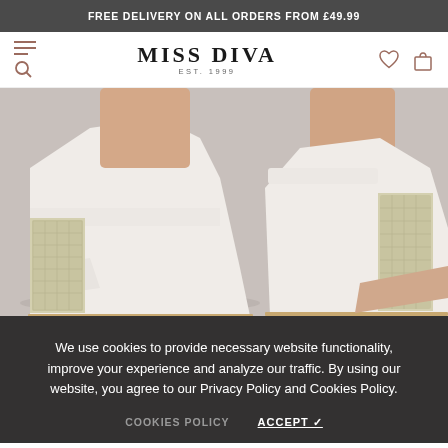FREE DELIVERY ON ALL ORDERS FROM £49.99
[Figure (logo): Miss Diva logo with EST. 1999 tagline, navigation icons for hamburger menu, search, heart/wishlist, and shopping bag]
[Figure (photo): Close-up photo of two white high heel sandals with glittery/rhinestone block heels on a light grey background]
We use cookies to provide necessary website functionality, improve your experience and analyze our traffic. By using our website, you agree to our Privacy Policy and Cookies Policy.
COOKIES POLICY    ACCEPT ✓